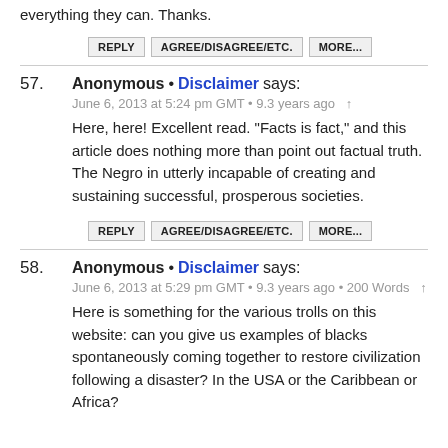everything they can. Thanks.
REPLY   AGREE/DISAGREE/ETC.   MORE...
57. Anonymous • Disclaimer says:
June 6, 2013 at 5:24 pm GMT • 9.3 years ago ↑
Here, here! Excellent read. "Facts is fact," and this article does nothing more than point out factual truth. The Negro in utterly incapable of creating and sustaining successful, prosperous societies.
REPLY   AGREE/DISAGREE/ETC.   MORE...
58. Anonymous • Disclaimer says:
June 6, 2013 at 5:29 pm GMT • 9.3 years ago • 200 Words ↑
Here is something for the various trolls on this website: can you give us examples of blacks spontaneously coming together to restore civilization following a disaster? In the USA or the Caribbean or Africa?